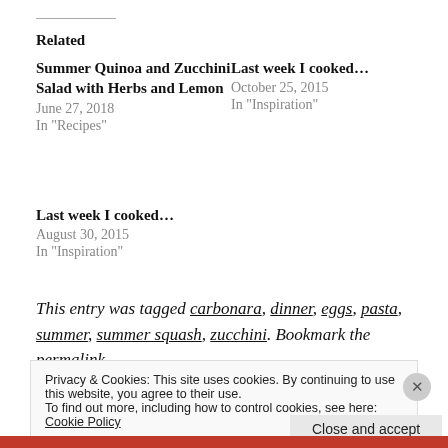Related
Summer Quinoa and Zucchini Salad with Herbs and Lemon
June 27, 2018
In "Recipes"
Last week I cooked…
October 25, 2015
In "Inspiration"
Last week I cooked…
August 30, 2015
In "Inspiration"
This entry was tagged carbonara, dinner, eggs, pasta, summer, summer squash, zucchini. Bookmark the permalink.
Privacy & Cookies: This site uses cookies. By continuing to use this website, you agree to their use.
To find out more, including how to control cookies, see here: Cookie Policy
Close and accept